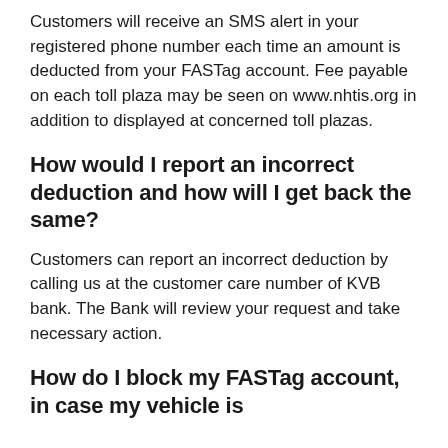Customers will receive an SMS alert in your registered phone number each time an amount is deducted from your FASTag account. Fee payable on each toll plaza may be seen on www.nhtis.org in addition to displayed at concerned toll plazas.
How would I report an incorrect deduction and how will I get back the same?
Customers can report an incorrect deduction by calling us at the customer care number of KVB bank. The Bank will review your request and take necessary action.
How do I block my FASTag account, in case my vehicle is